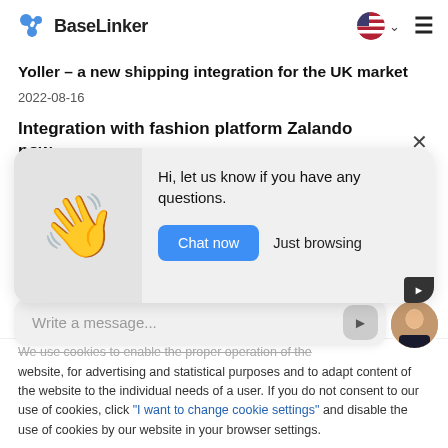BaseLinker
Yoller – a new shipping integration for the UK market
2022-08-16
Integration with fashion platform Zalando now
[Figure (screenshot): Chat popup widget with waving hand emoji, message 'Hi, let us know if you have any questions.' and two buttons: 'Chat now' (blue) and 'Just browsing']
Write a message...
We use cookies to enable the proper operation of the website, for advertising and statistical purposes and to adapt content of the website to the individual needs of a user. If you do not consent to our use of cookies, click "I want to change cookie settings" and disable the use of cookies by our website in your browser settings.